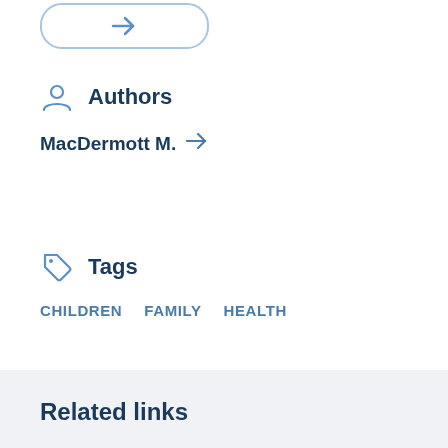[Figure (other): Rounded button with a blue right-arrow icon, partial view at top of page]
Authors
MacDermott M. →
Tags
CHILDREN   FAMILY   HEALTH
Related links